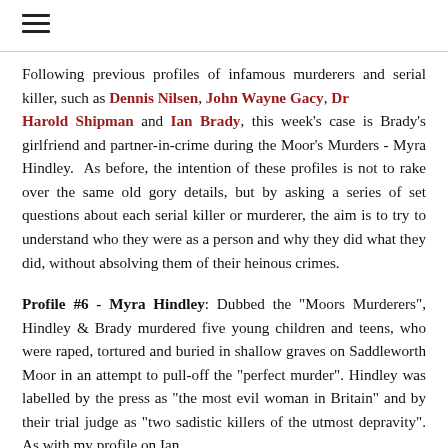≡
Following previous profiles of infamous murderers and serial killer, such as Dennis Nilsen, John Wayne Gacy, Dr Harold Shipman and Ian Brady, this week's case is Brady's girlfriend and partner-in-crime during the Moor's Murders - Myra Hindley. As before, the intention of these profiles is not to rake over the same old gory details, but by asking a series of set questions about each serial killer or murderer, the aim is to try to understand who they were as a person and why they did what they did, without absolving them of their heinous crimes.
Profile #6 - Myra Hindley: Dubbed the "Moors Murderers", Hindley & Brady murdered five young children and teens, who were raped, tortured and buried in shallow graves on Saddleworth Moor in an attempt to pull-off the "perfect murder". Hindley was labelled by the press as "the most evil woman in Britain" and by their trial judge as "two sadistic killers of the utmost depravity". As with my profile on Ian